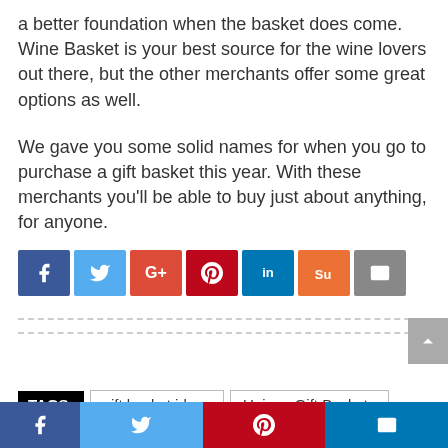a better foundation when the basket does come. Wine Basket is your best source for the wine lovers out there, but the other merchants offer some great options as well.
We gave you some solid names for when you go to purchase a gift basket this year. With these merchants you'll be able to buy just about anything, for anyone.
[Figure (infographic): Social sharing buttons: Facebook (blue), Twitter (light blue), Google+ (red), Pinterest (dark red), LinkedIn (blue), StumbleUpon (orange), Email (gray)]
TAGS: gift basket ideas  Unique Gift Baskets  unique gift ideas
[Figure (infographic): Bottom social sharing bar: Facebook (dark blue), Twitter (light blue), Pinterest (dark red), Email (blue)]